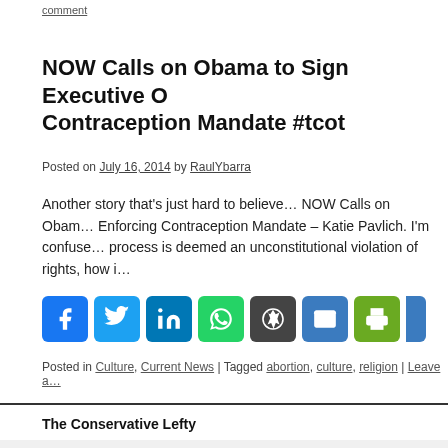comment
NOW Calls on Obama to Sign Executive O… Contraception Mandate #tcot
Posted on July 16, 2014 by RaulYbarra
Another story that's just hard to believe… NOW Calls on Obam… Enforcing Contraception Mandate – Katie Pavlich. I'm confuse… process is deemed an unconstitutional violation of rights, how i…
[Figure (infographic): Social share buttons: Facebook (blue), Twitter (blue), LinkedIn (blue), WhatsApp (green), WordPress (dark), Email (blue), Print (green), and one more partially visible (blue)]
Posted in Culture, Current News | Tagged abortion, culture, religion | Leave a…
The Conservative Lefty